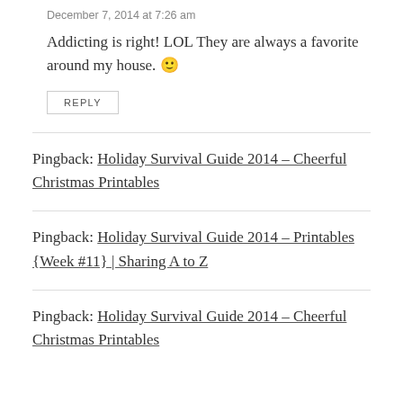December 7, 2014 at 7:26 am
Addicting is right! LOL They are always a favorite around my house. 🙂
REPLY
Pingback: Holiday Survival Guide 2014 – Cheerful Christmas Printables
Pingback: Holiday Survival Guide 2014 – Printables {Week #11} | Sharing A to Z
Pingback: Holiday Survival Guide 2014 – Cheerful Christmas Printables